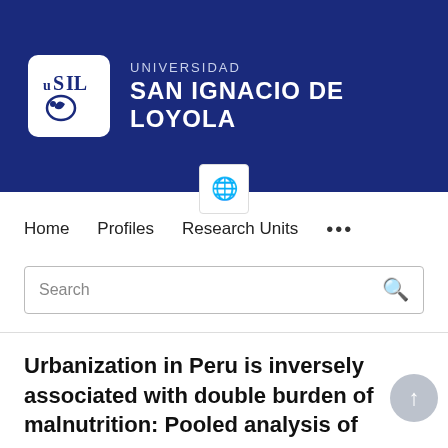[Figure (logo): Universidad San Ignacio de Loyola (USIL) logo — white box with USIL emblem on dark blue background, with text UNIVERSIDAD SAN IGNACIO DE LOYOLA]
Home   Profiles   Research Units   ...
Search
Urbanization in Peru is inversely associated with double burden of malnutrition: Pooled analysis of